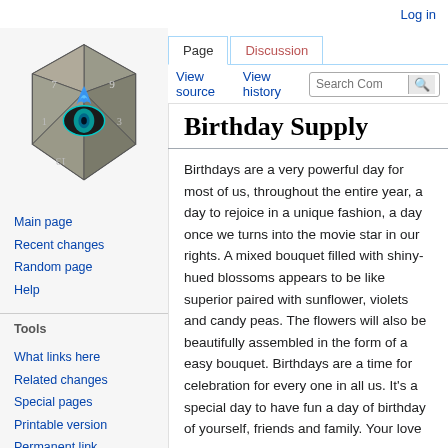Log in
[Figure (logo): D20 dice logo with a blue flame eye symbol — wiki site logo]
Main page
Recent changes
Random page
Help
Tools
What links here
Related changes
Special pages
Printable version
Permanent link
Page information
Birthday Supply
Birthdays are a very powerful day for most of us, throughout the entire year, a day to rejoice in a unique fashion, a day once we turns into the movie star in our rights. A mixed bouquet filled with shiny-hued blossoms appears to be like superior paired with sunflower, violets and candy peas. The flowers will also be beautifully assembled in the form of a easy bouquet. Birthdays are a time for celebration for every one in all us. It's a special day to have fun a day of birthday of yourself, friends and family. Your love